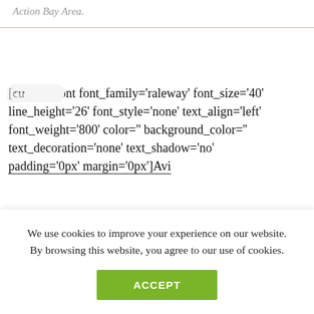Action Bay Area.
... [custom_font font_family='raleway' font_size='40' line_height='26' font_style='none' text_align='left' font_weight='800' color='' background_color='' text_decoration='none' text_shadow='no' padding='0px' margin='0px']Avi
We use cookies to improve your experience on our website. By browsing this website, you agree to our use of cookies.
ACCEPT